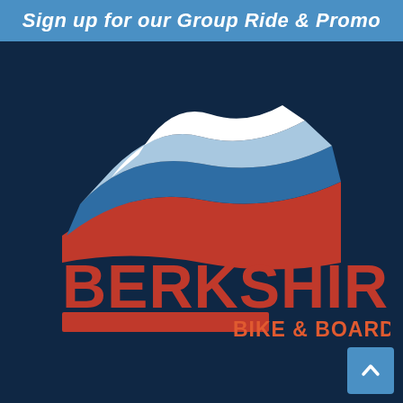Sign up for our Group Ride & Promo
[Figure (logo): Berkshire Bike & Board logo: stylized mountain/hill graphic with white, light blue, medium blue, and red layers forming a semicircular shape above the text BERKSHIRE in large red bold letters and BIKE & BOARD in orange-red letters on a dark navy background, with a red horizontal bar below BERKSHIRE.]